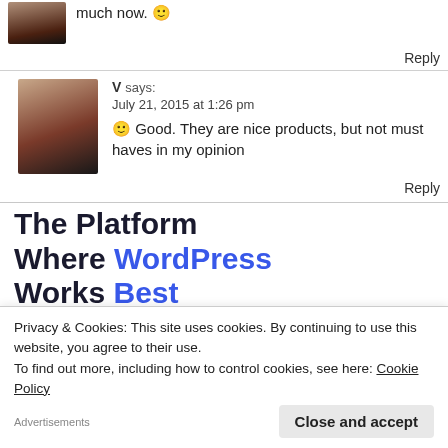much now. 🙂
Reply
V says:
July 21, 2015 at 1:26 pm
🙂 Good. They are nice products, but not must haves in my opinion
Reply
The Platform Where WordPress Works Best
SEE PRICING
Privacy & Cookies: This site uses cookies. By continuing to use this website, you agree to their use.
To find out more, including how to control cookies, see here: Cookie Policy
Close and accept